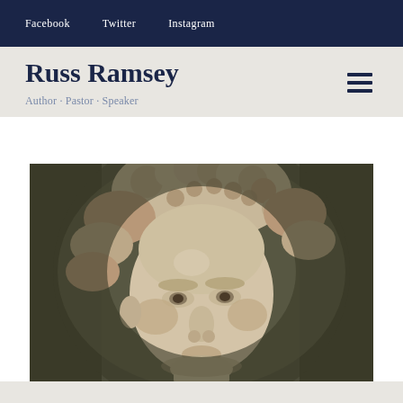Facebook  Twitter  Instagram
Russ Ramsey
Author · Pastor · Speaker
[Figure (photo): Close-up photograph of Michelangelo's David statue, showing the marble face and curly hair in detail, with dark background]